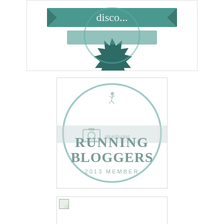[Figure (logo): Top badge/seal with teal/green colors, partially cropped. Shows a decorative badge shape with text 'disco...' partially visible, teal ribbon banners, dark teal starburst/seal shape at bottom.]
[Figure (logo): Running Bloggers 2013 Member badge. White square with rounded corners, large light teal circle outline, small running figure silhouette at top center, text 'RUNNING BLOGGERS' in large gray serif font, '2013 MEMBER' in smaller spaced gray letters below. Photobucket watermark overlay visible across center.]
[Figure (photo): White/blank image placeholder with small broken image icon (document with green leaf/image icon) in top-left corner. Mostly empty white rectangle with thin border.]